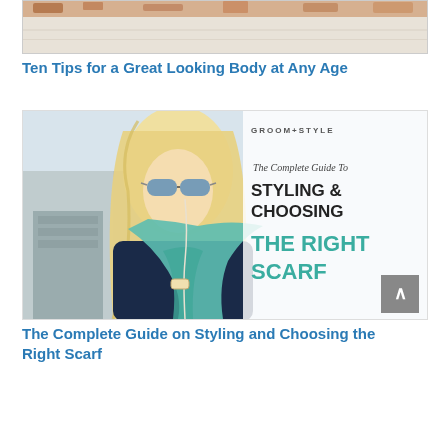[Figure (photo): Top portion of an image, showing a weathered surface with rust-colored streaks on a light background]
Ten Tips for a Great Looking Body at Any Age
[Figure (photo): A blonde woman wearing sunglasses and a teal scarf, with overlaid text reading: GROOM+STYLE / The Complete Guide To STYLING & CHOOSING THE RIGHT SCARF]
The Complete Guide on Styling and Choosing the Right Scarf